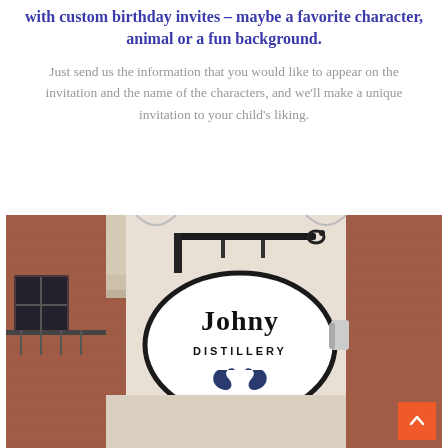with custom birthday invites – maybe a favorite character, animal or a fun background.
Just send us the information that you would like to appear on the invitation and the name of the characters, and we'll make a unique invitation to your child's liking.
[Figure (photo): A photo of a hanging oval sign reading 'Johny Distillery' with a decorative logo, mounted on a black iron bracket against a brick and stone building facade.]